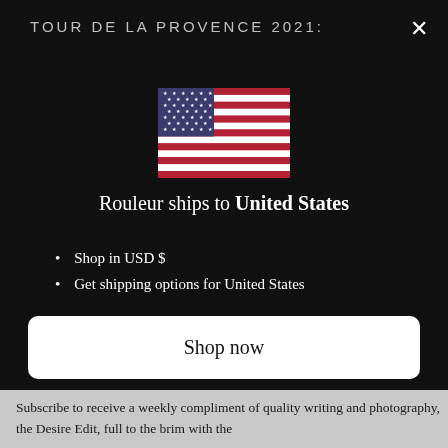TOUR DE LA PROVENCE 2021:
[Figure (illustration): US flag emoji/icon centered in the modal dialog]
Rouleur ships to United States
Shop in USD $
Get shipping options for United States
Shop now
Change shipping country
Subscribe to receive a weekly compliment of quality writing and photography, the Desire Edit, full to the brim with the